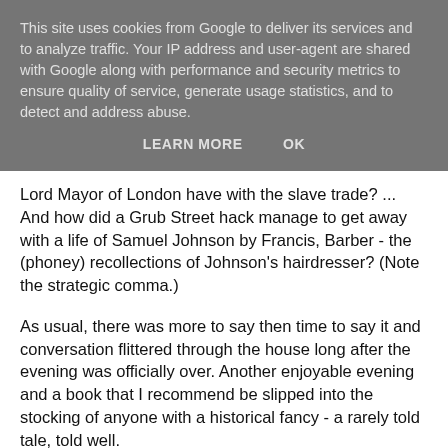This site uses cookies from Google to deliver its services and to analyze traffic. Your IP address and user-agent are shared with Google along with performance and security metrics to ensure quality of service, generate usage statistics, and to detect and address abuse.
LEARN MORE    OK
Lord Mayor of London have with the slave trade? ... And how did a Grub Street hack manage to get away with a life of Samuel Johnson by Francis, Barber - the (phoney) recollections of Johnson's hairdresser? (Note the strategic comma.)
As usual, there was more to say then time to say it and conversation flittered through the house long after the evening was officially over. Another enjoyable evening and a book that I recommend be slipped into the stocking of anyone with a historical fancy - a rarely told tale, told well.